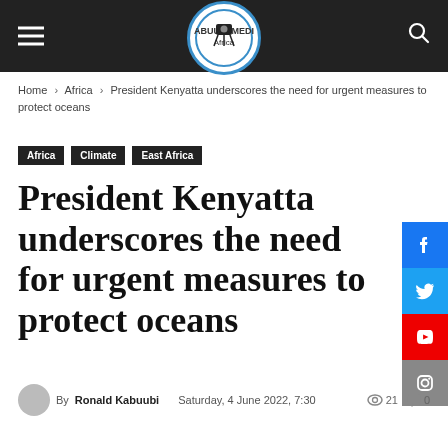Kabuubi Media Africa — navigation header with hamburger menu, logo, and search icon
Home › Africa › President Kenyatta underscores the need for urgent measures to protect oceans
Africa
Climate
East Africa
President Kenyatta underscores the need for urgent measures to protect oceans
By Ronald Kabuubi   Saturday, 4 June 2022, 7:30   👁 21   💬 0